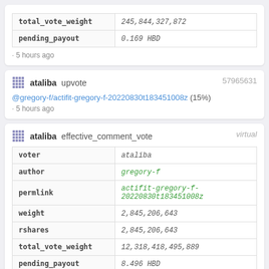| field | value |
| --- | --- |
| total_vote_weight | 245,844,327,872 |
| pending_payout | 0.169 HBD |
· 5 hours ago
ataliba upvote 57965631 @gregory-f/actifit-gregory-f-20220830t183451008z (15%) · 5 hours ago
ataliba effective_comment_vote virtual
| field | value |
| --- | --- |
| voter | ataliba |
| author | gregory-f |
| permlink | actifit-gregory-f-20220830t183451008z |
| weight | 2,845,206,643 |
| rshares | 2,845,206,643 |
| total_vote_weight | 12,318,418,495,889 |
| pending_payout | 8.496 HBD |
· 5 hours ago
ataliba upvote 7a745eba @imransoudagar/actifit-imransoudagar-20220830t1813... (15%) · 5 hours ago
ataliba effective_comment_vote virtual